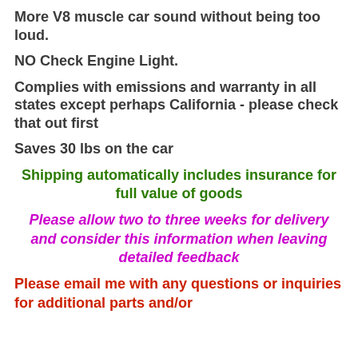More V8 muscle car sound without being too loud.
NO Check Engine Light.
Complies with emissions and warranty in all states except perhaps California - please check that out first
Saves 30 lbs on the car
Shipping automatically includes insurance for full value of goods
Please allow two to three weeks for delivery and consider this information when leaving detailed feedback
Please email me with any questions or inquiries for additional parts and/or